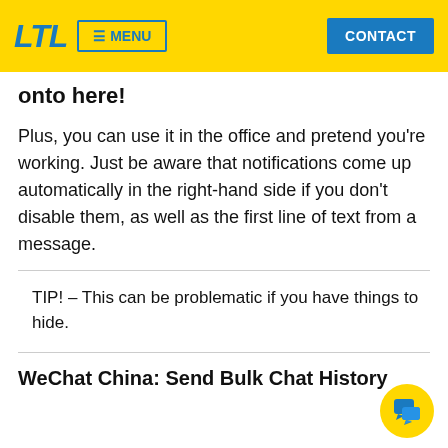LTL  MENU  CONTACT
onto here!
Plus, you can use it in the office and pretend you're working. Just be aware that notifications come up automatically in the right-hand side if you don't disable them, as well as the first line of text from a message.
TIP! – This can be problematic if you have things to hide.
WeChat China: Send Bulk Chat History